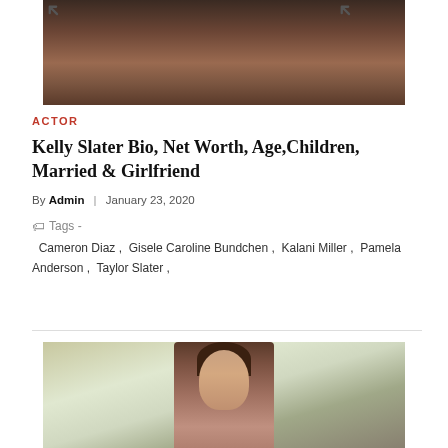[Figure (photo): Top portion of a man's head/neck from behind, dark jacket, with arrow signs in background]
ACTOR
Kelly Slater Bio, Net Worth, Age,Children, Married & Girlfriend
By Admin | January 23, 2020
Tags - Cameron Diaz, Gisele Caroline Bundchen, Kalani Miller, Pamela Anderson, Taylor Slater,
[Figure (photo): Young woman with long brunette hair, standing in front of blurred green/grey background]